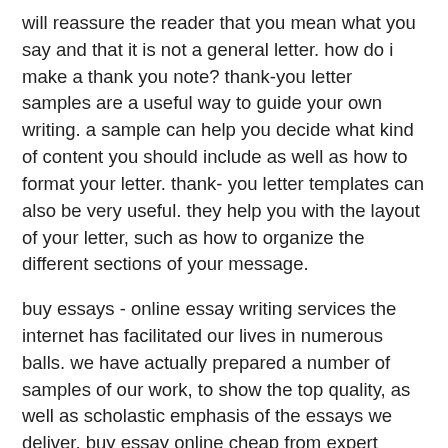will reassure the reader that you mean what you say and that it is not a general letter. how do i make a thank you note? thank-you letter samples are a useful way to guide your own writing. a sample can help you decide what kind of content you should include as well as how to format your letter. thank- you letter templates can also be very useful. they help you with the layout of your letter, such as how to organize the different sections of your message.
buy essays - online essay writing services the internet has facilitated our lives in numerous balls. we have actually prepared a number of samples of our work, to show the top quality, as well as scholastic emphasis of the essays we deliver. buy essay online cheap from expert essay writers online. write my essays. 10/ 10 essay writing service 24/ 7. make an order, and a pro writer will do your essay fast. on our website, you can buy essays online exactly when you need them. to gain access to our database of free essays and term papers database please click on one of the links below best essays, term papers, & reports - free online. free online essays